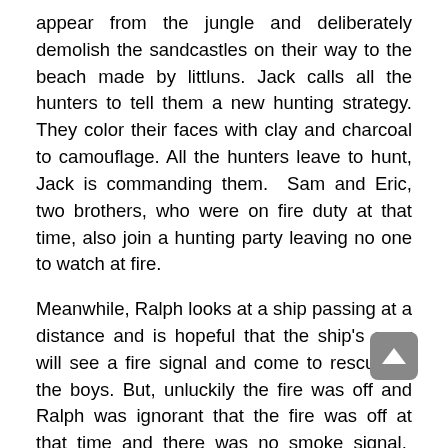appear from the jungle and deliberately demolish the sandcastles on their way to the beach made by littluns. Jack calls all the hunters to tell them a new hunting strategy. They color their faces with clay and charcoal to camouflage. All the hunters leave to hunt, Jack is commanding them. Sam and Eric, two brothers, who were on fire duty at that time, also join a hunting party leaving no one to watch at fire.
Meanwhile, Ralph looks at a ship passing at a distance and is hopeful that the ship's crew will see a fire signal and come to rescue all the boys. But, unluckily the fire was off and Ralph was ignorant that the fire was off at that time and there was no smoke signal. Simon informs him that there is no fire. Simon, Ralph and Piggy hurriedly move to the top. When all three boys had reached at top, the ship had gone at that time.
In the meantime, the hunting party is marching up to the fire site triumphantly with the carcass of a pig. There is an exchange of arguments on dormant fire